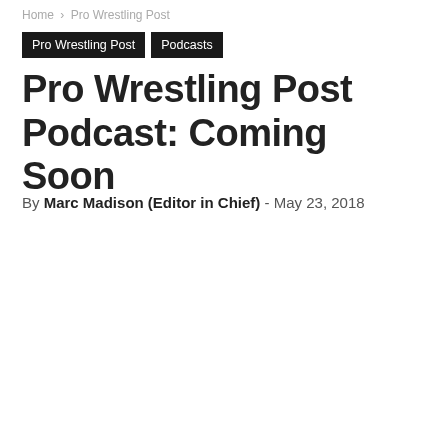Home › Pro Wrestling Post
Pro Wrestling Post  Podcasts
Pro Wrestling Post Podcast: Coming Soon
By Marc Madison (Editor in Chief) - May 23, 2018